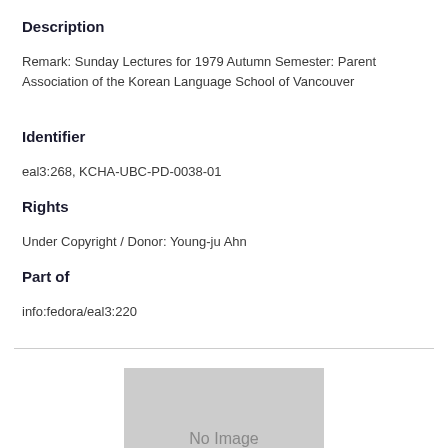Description
Remark: Sunday Lectures for 1979 Autumn Semester: Parent Association of the Korean Language School of Vancouver
Identifier
eal3:268, KCHA-UBC-PD-0038-01
Rights
Under Copyright / Donor: Young-ju Ahn
Part of
info:fedora/eal3:220
[Figure (other): No Image placeholder box with grey background and 'No Image' text]